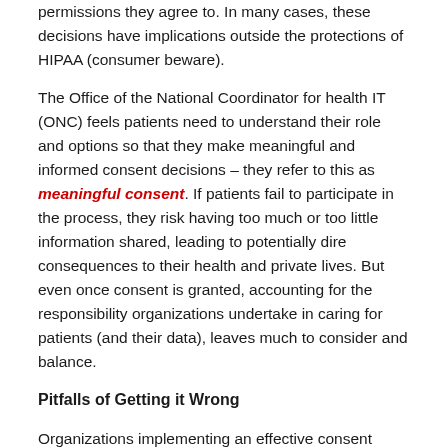permissions they agree to. In many cases, these decisions have implications outside the protections of HIPAA (consumer beware).
The Office of the National Coordinator for health IT (ONC) feels patients need to understand their role and options so that they make meaningful and informed consent decisions – they refer to this as meaningful consent. If patients fail to participate in the process, they risk having too much or too little information shared, leading to potentially dire consequences to their health and private lives. But even once consent is granted, accounting for the responsibility organizations undertake in caring for patients (and their data), leaves much to consider and balance.
Pitfalls of Getting it Wrong
Organizations implementing an effective consent process, including appropriate sharing among multiple stakeholders and regions, face an incredibly complex task. Those who do not have the needed policy/regulatory knowledge, systems,